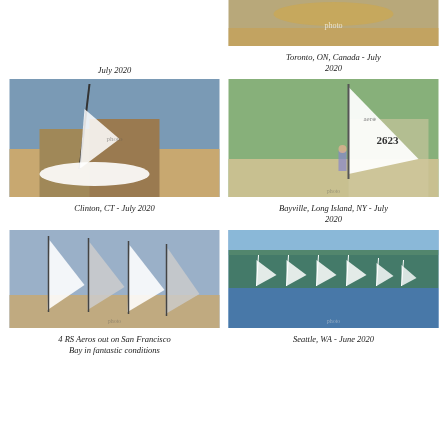July 2020
[Figure (photo): Sailboat on water, Toronto ON Canada July 2020]
Toronto, ON, Canada - July 2020
[Figure (photo): RS Aero sailboat beached on rocks, Clinton CT July 2020]
Clinton, CT - July 2020
[Figure (photo): RS Aero sail #2623 being rigged on grass, Bayville Long Island NY July 2020]
Bayville, Long Island, NY - July 2020
[Figure (photo): 4 RS Aeros on San Francisco Bay in fantastic conditions]
4 RS Aeros out on San Francisco Bay in fantastic conditions
[Figure (photo): Fleet of RS Aero sailboats on water, Seattle WA June 2020]
Seattle, WA - June 2020